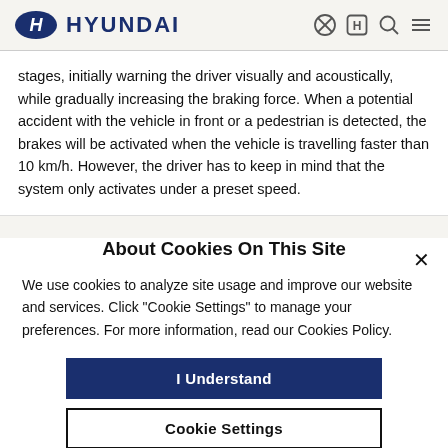HYUNDAI
stages, initially warning the driver visually and acoustically, while gradually increasing the braking force. When a potential accident with the vehicle in front or a pedestrian is detected, the brakes will be activated when the vehicle is travelling faster than 10 km/h. However, the driver has to keep in mind that the system only activates under a preset speed.
About Cookies On This Site
We use cookies to analyze site usage and improve our website and services. Click "Cookie Settings" to manage your preferences. For more information, read our Cookies Policy.
I Understand
Cookie Settings